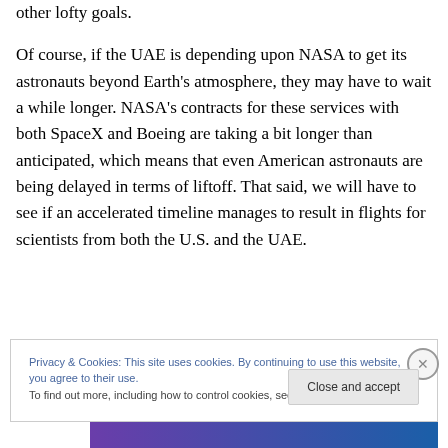focused on sending humans into space, in addition to other lofty goals.
Of course, if the UAE is depending upon NASA to get its astronauts beyond Earth's atmosphere, they may have to wait a while longer. NASA's contracts for these services with both SpaceX and Boeing are taking a bit longer than anticipated, which means that even American astronauts are being delayed in terms of liftoff. That said, we will have to see if an accelerated timeline manages to result in flights for scientists from both the U.S. and the UAE.
Privacy & Cookies: This site uses cookies. By continuing to use this website, you agree to their use.
To find out more, including how to control cookies, see here: Cookie Policy